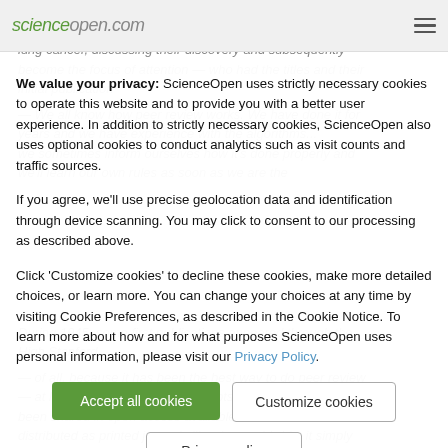ScienceOpen
We value your privacy: ScienceOpen uses strictly necessary cookies to operate this website and to provide you with a better user experience. In addition to strictly necessary cookies, ScienceOpen also uses optional cookies to conduct analytics such as visit counts and traffic sources.
If you agree, we'll use precise geolocation data and identification through device scanning. You may click to consent to our processing as described above.
Click 'Customize cookies' to decline these cookies, make more detailed choices, or learn more. You can change your choices at any time by visiting Cookie Preferences, as described in the Cookie Notice. To learn more about how and for what purposes ScienceOpen uses personal information, please visit our Privacy Policy.
Accept all cookies
Customize cookies
Privacy policy